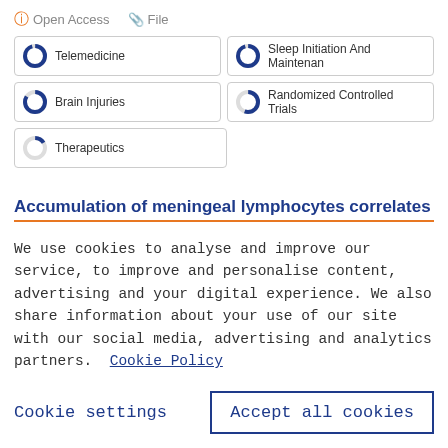Open Access   File
Telemedicine
Sleep Initiation And Maintenan
Brain Injuries
Randomized Controlled Trials
Therapeutics
Accumulation of meningeal lymphocytes correlates
We use cookies to analyse and improve our service, to improve and personalise content, advertising and your digital experience. We also share information about your use of our site with our social media, advertising and analytics partners.  Cookie Policy
Cookie settings
Accept all cookies